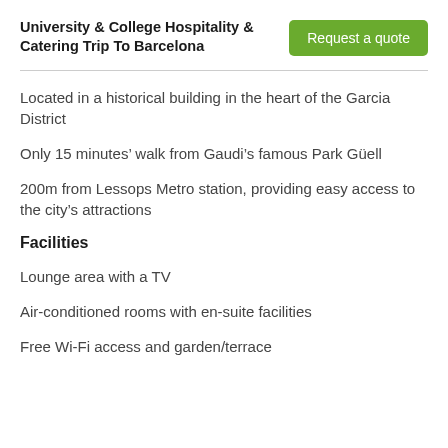University & College Hospitality & Catering Trip To Barcelona
Request a quote
Located in a historical building in the heart of the Garcia District
Only 15 minutes’ walk from Gaudi’s famous Park Güell
200m from Lessops Metro station, providing easy access to the city’s attractions
Facilities
Lounge area with a TV
Air-conditioned rooms with en-suite facilities
Free Wi-Fi access and garden/terrace